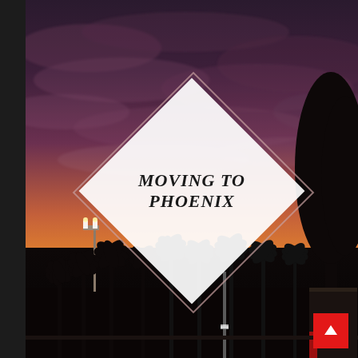[Figure (photo): Cover page image of a Phoenix sunset with palm tree silhouettes, dramatic purple and orange sky, sports field lights, and a white diamond-shaped overlay containing the title text 'MOVING TO PHOENIX'. A dark vertical bar on the left and a red scroll-up button in the bottom right corner.]
MOVING TO PHOENIX